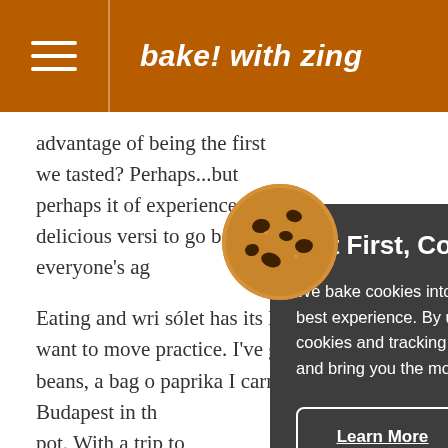bake! with zing
advantage of being the first we tasted? Perhaps...but perhaps it was the experience that made a delicious version. I'd love to go back and compare but everyone's agr
Eating and wri sólet has its li want to move practice. I've g beans, a bag o paprika I carrie Budapest in th pot. With a trip to
Zingerman's Delicatessen to
[Figure (illustration): Cookie emoji / chocolate chip cookie icon]
But First, Cookies!
We bake cookies into our site to provide you with the best experience. By using our site, you consent to cookies and tracking. They help us find site issues and bring you the most relevant information.
Learn More
Accept & Continue